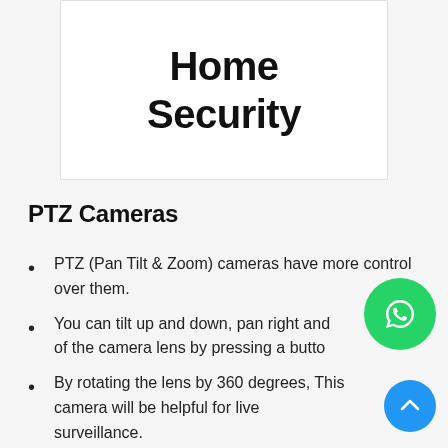Home Security
PTZ Cameras
PTZ (Pan Tilt & Zoom) cameras have more control over them.
You can tilt up and down, pan right and of the camera lens by pressing a butto
By rotating the lens by 360 degrees, This camera will be helpful for live surveillance.